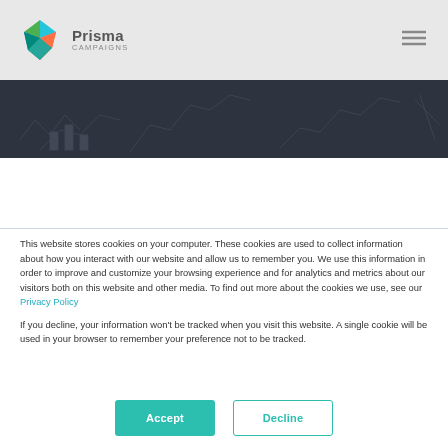[Figure (logo): Prisma Campaigns logo with colorful faceted gem icon and text 'Prisma CAMPAIGNS']
[Figure (illustration): Dark banner with faint line-art illustration of analytics/chart elements]
This website stores cookies on your computer. These cookies are used to collect information about how you interact with our website and allow us to remember you. We use this information in order to improve and customize your browsing experience and for analytics and metrics about our visitors both on this website and other media. To find out more about the cookies we use, see our Privacy Policy

If you decline, your information won't be tracked when you visit this website. A single cookie will be used in your browser to remember your preference not to be tracked.